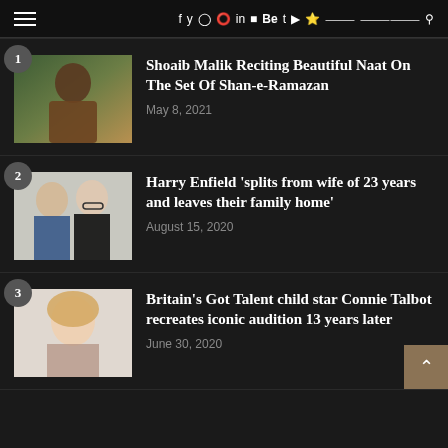Navigation bar with hamburger menu and social icons: f y Instagram Pinterest in Flickr Be t YouTube Snapchat V RSS Search
1 - Shoaib Malik Reciting Beautiful Naat On The Set Of Shan-e-Ramazan — May 8, 2021
2 - Harry Enfield 'splits from wife of 23 years and leaves their family home' — August 15, 2020
3 - Britain's Got Talent child star Connie Talbot recreates iconic audition 13 years later — June 30, 2020